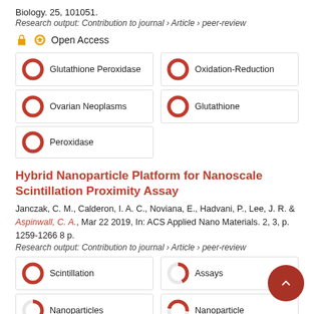Biology. 25, 101051.
Research output: Contribution to journal › Article › peer-review
Open Access
| Glutathione Peroxidase | Oxidation-Reduction |
| Ovarian Neoplasms | Glutathione |
| Peroxidase |  |
Hybrid Nanoparticle Platform for Nanoscale Scintillation Proximity Assay
Janczak, C. M., Calderon, I. A. C., Noviana, E., Hadvani, P., Lee, J. R. & Aspinwall, C. A., Mar 22 2019, In: ACS Applied Nano Materials. 2, 3, p. 1259-1266 8 p.
Research output: Contribution to journal › Article › peer-review
| Scintillation | Assays |
| Nanoparticles | Nanoparticle |
| Core Shell Nanoparticles |  |